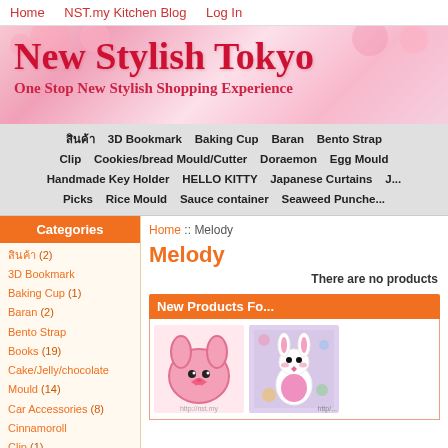Home   NST.my Kitchen Blog   Log In
[Figure (illustration): New Stylish Tokyo website header banner with pink floral background. Title: New Stylish Tokyo. Subtitle: One Stop New Stylish Shopping Experience]
New Stylish Tokyo
One Stop New Stylish Shopping Experience
สินค้า   3D Bookmark   Baking Cup   Baran   Bento Strap   Clip   Cookies/bread Mould/Cutter   Doraemon   Egg Mould   Handmade Key Holder   HELLO KITTY   Japanese Curtains   J...   Picks   Rice Mould   Sauce container   Seaweed Punche...
Categories
สินค้า (2)
3D Bookmark
Baking Cup (1)
Baran (2)
Bento Strap
Books (19)
Cake/Jelly/chocolate Mould (14)
Car Accessories (8)
Cinnamoroll
Clip (1)
Cookies/bread Mould/Cutter (36)
Doraemon (6)
Egg Mould (4)
Home :: Melody
Melody
There are no products
New Products Fo...
[Figure (photo): Pink Melody cookie cutter/mould shaped like My Melody bunny face]
[Figure (photo): Plush doll or figurine of My Melody character in bunny costume, colorful background]